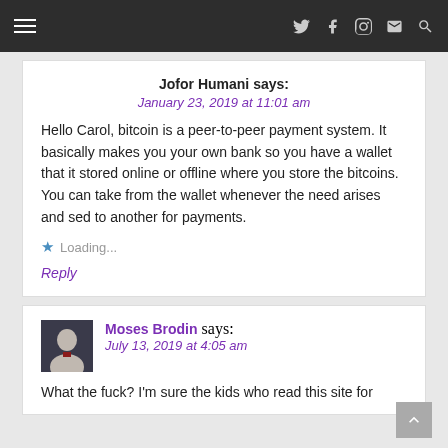≡   ♦ f ⊕ ✉ 🔍
Jofor Humani says:
January 23, 2019 at 11:01 am

Hello Carol, bitcoin is a peer-to-peer payment system. It basically makes you your own bank so you have a wallet that it stored online or offline where you store the bitcoins. You can take from the wallet whenever the need arises and sed to another for payments.

★ Loading...

Reply
Moses Brodin says:
July 13, 2019 at 4:05 am

What the fuck? I'm sure the kids who read this site for...